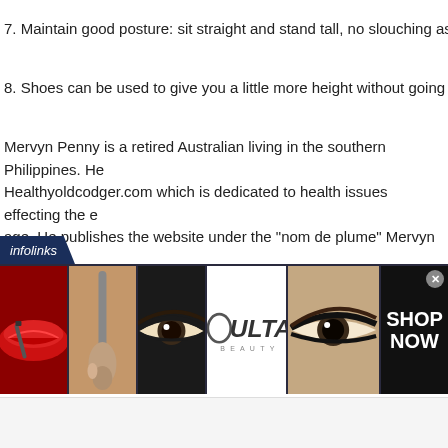7. Maintain good posture: sit straight and stand tall, no slouching as it ac
8. Shoes can be used to give you a little more height without going overb
Mervyn Penny is a retired Australian living in the southern Philippines. He runs Healthyoldcodger.com which is dedicated to health issues effecting the elderly age. He publishes the website under the "nom de plume" Mervyn Balling
[Figure (screenshot): Infolinks advertisement banner showing makeup/beauty images and ULTA logo with SHOP NOW button]